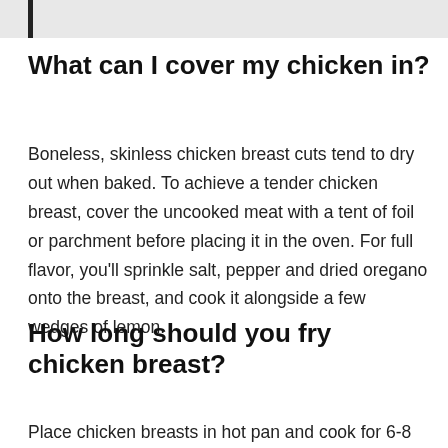What can I cover my chicken in?
Boneless, skinless chicken breast cuts tend to dry out when baked. To achieve a tender chicken breast, cover the uncooked meat with a tent of foil or parchment before placing it in the oven. For full flavor, you'll sprinkle salt, pepper and dried oregano onto the breast, and cook it alongside a few wedges of lemon.
How long should you fry chicken breast?
Place chicken breasts in hot pan and cook for 6-8